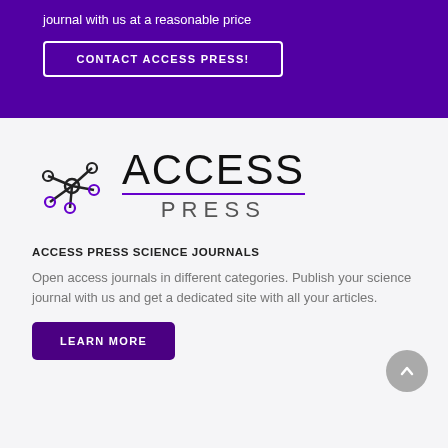journal with us at a reasonable price
CONTACT ACCESS PRESS!
[Figure (logo): Access Press logo: molecule/network icon on left in black and purple, with ACCESS in large thin font and PRESS in smaller spaced font below a purple underline]
ACCESS PRESS SCIENCE JOURNALS
Open access journals in different categories. Publish your science journal with us and get a dedicated site with all your articles.
LEARN MORE